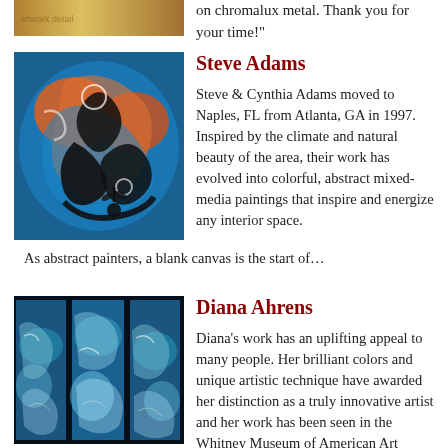[Figure (photo): Partial artwork image at top of page (cropped from previous entry)]
on chromalux metal. Thank you for your time!"
[Figure (photo): Steve Adams artwork: colorful abstract mixed-media painting with black swirling figures on blue and orange background]
Steve Adams
Steve & Cynthia Adams moved to Naples, FL from Atlanta, GA in 1997. Inspired by the climate and natural beauty of the area, their work has evolved into colorful, abstract mixed-media paintings that inspire and energize any interior space.   As abstract painters, a blank canvas is the start of…
[Figure (photo): Diana Ahrens artwork: triptych of blue and white abstract paintings resembling ocean waves or ice]
Diana Ahrens
Diana's work has an uplifting appeal to many people.  Her brilliant colors and unique artistic technique have awarded her distinction as a truly innovative artist and her work has been seen in the Whitney Museum of American Art